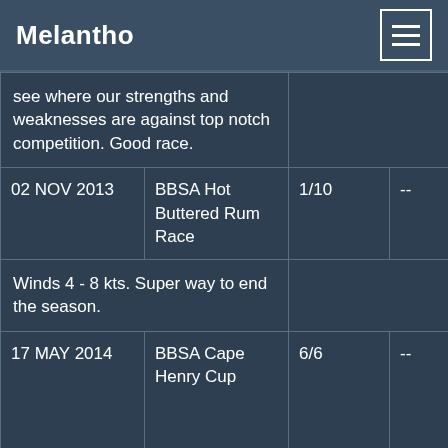Melantho
| see where our strengths and weaknesses are against top notch competition. Good race. |  |  |  |
| 02 NOV 2013 | BBSA Hot Buttered Rum Race | 1/10 | -- |
| Winds 4 - 8 kts. Super way to end the season. |  |  |  |
| 17 MAY 2014 | BBSA Cape Henry Cup | 6/6 | -- | Wind N - NW 5 - 15 kn. Were doing well until a fouled halyard led to a |